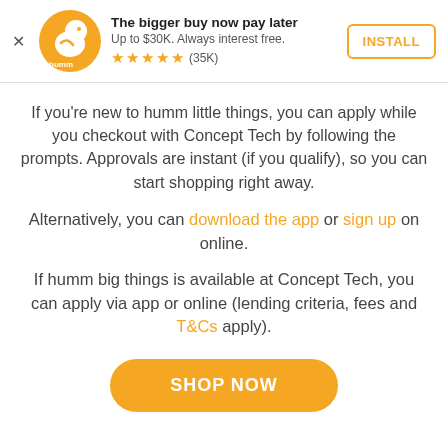[Figure (logo): Humm app ad banner with orange bird logo, title 'The bigger buy now pay later', subtitle 'Up to $30K. Always interest free.', star rating 4.5 stars (35K reviews), and INSTALL button]
If you’re new to humm little things, you can apply while you checkout with Concept Tech by following the prompts. Approvals are instant (if you qualify), so you can start shopping right away.
Alternatively, you can download the app or sign up on online.
If humm big things is available at Concept Tech, you can apply via app or online (lending criteria, fees and T&Cs apply).
[Figure (other): Orange rounded rectangle button with white bold text 'SHOP NOW']